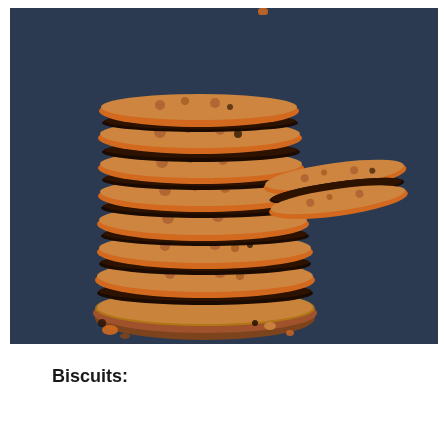[Figure (photo): A stack of oat and chocolate chip sandwich biscuits with dark chocolate ganache filling, stacked high on a dark slate background. One biscuit sandwich leans against the stack on the right side, showing the chocolate filling. Cookie crumbs scattered on the slate surface.]
Biscuits: